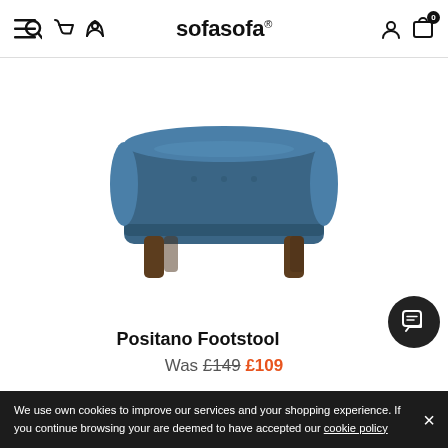sofasofa®
[Figure (photo): A blue upholstered Positano Footstool with dark wooden legs, photographed on a white background.]
Positano Footstool
Was £149  £109
We use own cookies to improve our services and your shopping experience. If you continue browsing your are deemed to have accepted our cookie policy